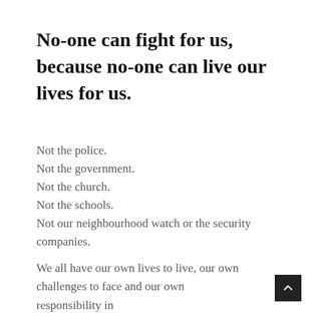No-one can fight for us, because no-one can live our lives for us.
Not the police.
Not the government.
Not the church.
Not the schools.
Not our neighbourhood watch or the security companies.
We all have our own lives to live, our own challenges to face and our own responsibility in